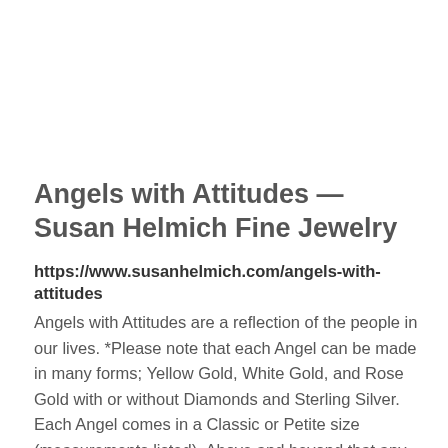Angels with Attitudes — Susan Helmich Fine Jewelry
https://www.susanhelmich.com/angels-with-attitudes
Angels with Attitudes are a reflection of the people in our lives. *Please note that each Angel can be made in many forms; Yellow Gold, White Gold, and Rose Gold with or without Diamonds and Sterling Silver. Each Angel comes in a Classic or Petite size (measurements listed). Above and beyond that any Angels can be a Pendant, Brooch, or Lapel Pin. You can also customize an Angel with colored gemstones (birthstone or favorite color) or we can start